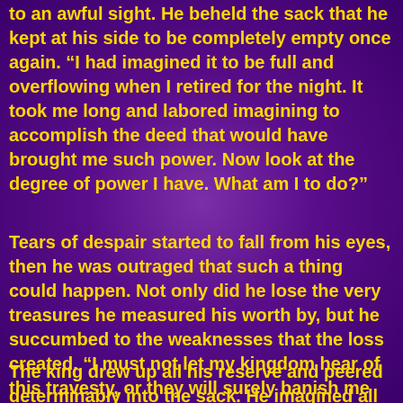to an awful sight. He beheld the sack that he kept at his side to be completely empty once again. “I had imagined it to be full and overflowing when I retired for the night. It took me long and labored imagining to accomplish the deed that would have brought me such power. Now look at the degree of power I have. What am I to do?”
Tears of despair started to fall from his eyes, then he was outraged that such a thing could happen. Not only did he lose the very treasures he measured his worth by, but he succumbed to the weaknesses that the loss created. “I must not let my kingdom hear of this travesty, or they will surely banish me from my own kingdom.”
The king drew up all his reserve and peered determinably into the sack. He imagined all